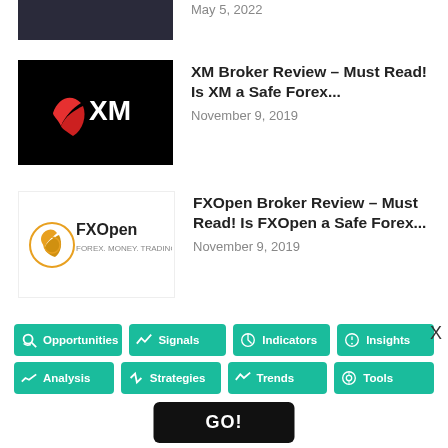May 5, 2022
XM Broker Review – Must Read! Is XM a Safe Forex...
November 9, 2019
FXOpen Broker Review – Must Read! Is FXOpen a Safe Forex...
November 9, 2019
XM Trading Account Opening Guide
March 26, 2020